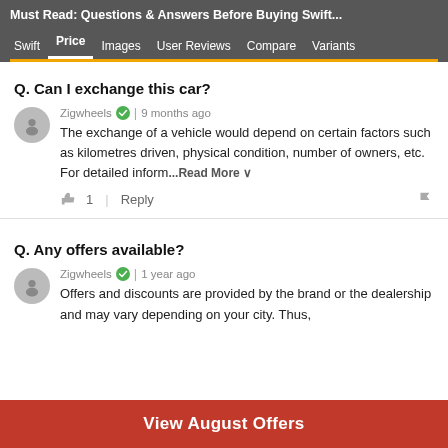Must Read: Questions & Answers Before Buying Swift
Swift | Price | Images | User Reviews | Compare | Variants
Q. Can I exchange this car?
Zigwheels | 9 months ago
The exchange of a vehicle would depend on certain factors such as kilometres driven, physical condition, number of owners, etc. For detailed inform...Read More
Q. Any offers available?
Zigwheels | 1 year ago
Offers and discounts are provided by the brand or the dealership and may vary depending on your city. Thus,
View August Offers